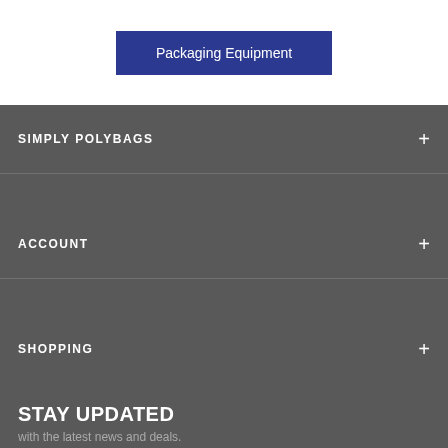[Figure (other): Blue button labeled 'Packaging Equipment']
SIMPLY POLYBAGS
ACCOUNT
SHOPPING
STAY UPDATED
with the latest news and deals.